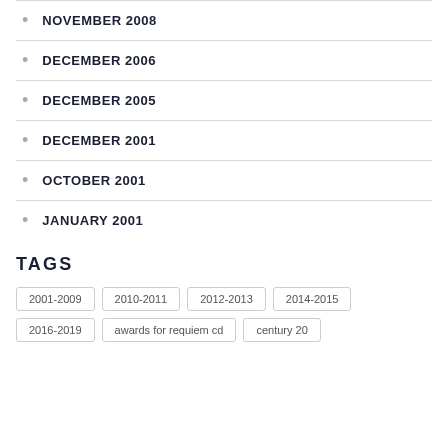NOVEMBER 2008
DECEMBER 2006
DECEMBER 2005
DECEMBER 2001
OCTOBER 2001
JANUARY 2001
TAGS
2001-2009 2010-2011 2012-2013 2014-2015 2016-2019 awards for requiem cd century 20